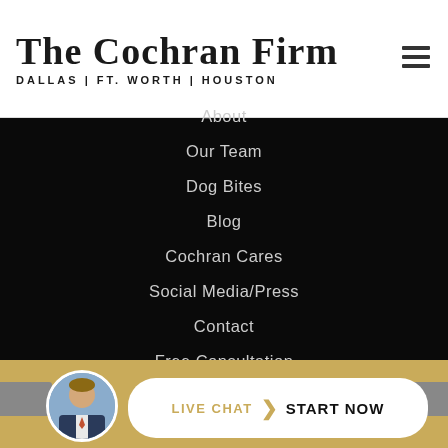The Cochran Firm — Dallas | Ft. Worth | Houston
About
Our Team
Dog Bites
Blog
Cochran Cares
Social Media/Press
Contact
Free Consultation
LIVE CHAT  START NOW